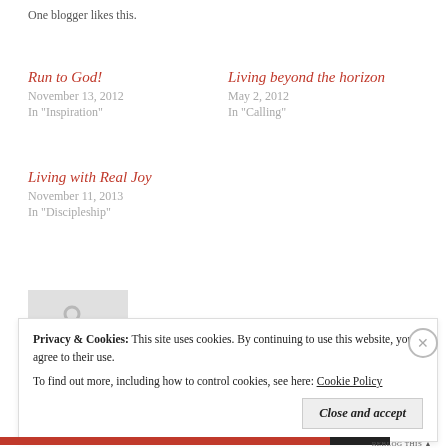One blogger likes this.
Run to God!
November 13, 2012
In "Inspiration"
Living beyond the horizon
May 2, 2012
In "Calling"
Living with Real Joy
November 11, 2013
In "Discipleship"
[Figure (photo): Small gray placeholder image with a chain/link icon]
Privacy & Cookies: This site uses cookies. By continuing to use this website, you agree to their use.
To find out more, including how to control cookies, see here: Cookie Policy
Close and accept